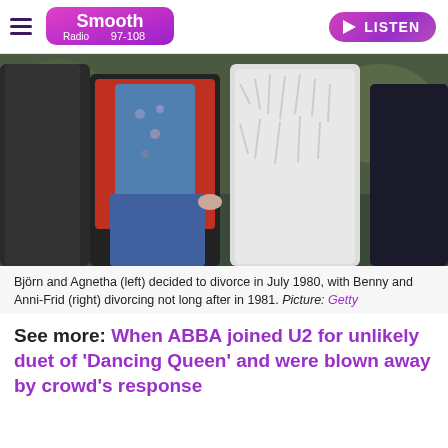Smooth Radio 97-108 | LISTEN
[Figure (photo): Three people standing outdoors in a park setting. A person in red on the left, a woman in a blue floral top with jeans in the middle, and a person in a white fluffy coat on the right. A fourth person in a dark jacket is partially visible on the far right.]
Björn and Agnetha (left) decided to divorce in July 1980, with Benny and Anni-Frid (right) divorcing not long after in 1981. Picture: Getty
See more: When ABBA joined U2 for unlikely duet of 'Dancing Queen' and were blown away by crowd's response